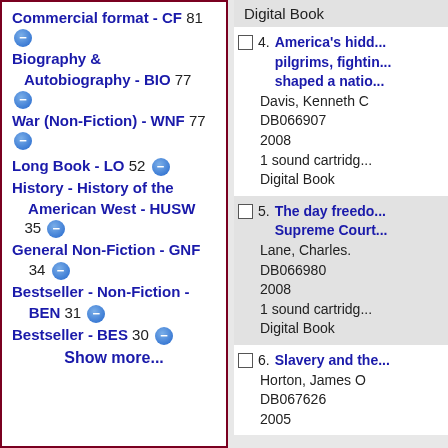Digital Book
4. America's hidd... pilgrims, fightin... shaped a natio... Davis, Kenneth C. DB066907 2008 1 sound cartridg... Digital Book
5. The day freedo... Supreme Court... Lane, Charles. DB066980 2008 1 sound cartridg... Digital Book
6. Slavery and the... Horton, James O. DB067626 2005
Commercial format - CF 81
Biography & Autobiography - BIO 77
War (Non-Fiction) - WNF 77
Long Book - LO 52
History - History of the American West - HUSW 35
General Non-Fiction - GNF 34
Bestseller - Non-Fiction - BEN 31
Bestseller - BES 30
Show more...